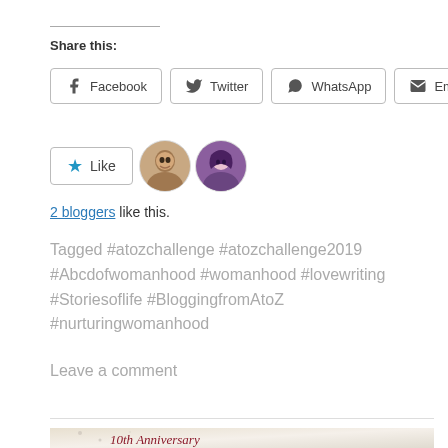Share this:
Facebook | Twitter | WhatsApp | Email (social share buttons)
Like (with 2 blogger avatars shown)
2 bloggers like this.
Tagged #atozchallenge #atozchallenge2019 #Abcdofwomanhood #womanhood #lovewriting #Storiesoflife #BloggingfromAtoZ #nurturingwomanhood
Leave a comment
[Figure (illustration): 10th Anniversary banner with large gold M letter and script text reading '10th Anniversary' on a light background with abstract decorative elements]